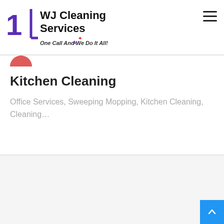1 WJ Cleaning Services — One Call And We Do It All!
[Figure (logo): WJ Cleaning Services logo with purple numeral 1, bracket, bold text 'WJ Cleaning Services', tagline 'One Call And We Do It All!']
[Figure (illustration): Red semicircle icon at top of content card]
Kitchen Cleaning
Office Services, Sweeping Mopping, Kitchen Cleaning, Cleaning…